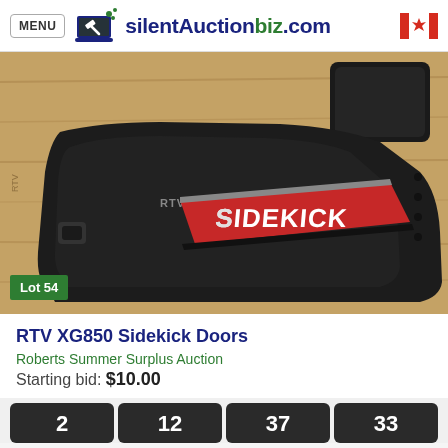MENU  silentAuctionbiz.com
[Figure (photo): Photo of RTV XG850 Sidekick Doors — black plastic door panels with red and silver 'SIDEKICK' branding, placed on a wooden surface. Green 'Lot 54' badge in bottom-left corner.]
RTV XG850 Sidekick Doors
Roberts Summer Surplus Auction
Starting bid: $10.00
2  12  37  33